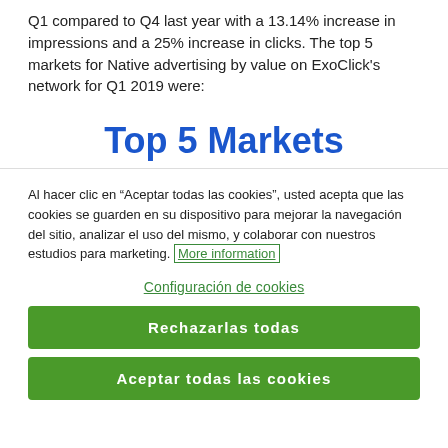Q1 compared to Q4 last year with a 13.14% increase in impressions and a 25% increase in clicks. The top 5 markets for Native advertising by value on ExoClick's network for Q1 2019 were:
Top 5 Markets
Al hacer clic en “Aceptar todas las cookies”, usted acepta que las cookies se guarden en su dispositivo para mejorar la navegación del sitio, analizar el uso del mismo, y colaborar con nuestros estudios para marketing. More information
Configuración de cookies
Rechazarlas todas
Aceptar todas las cookies